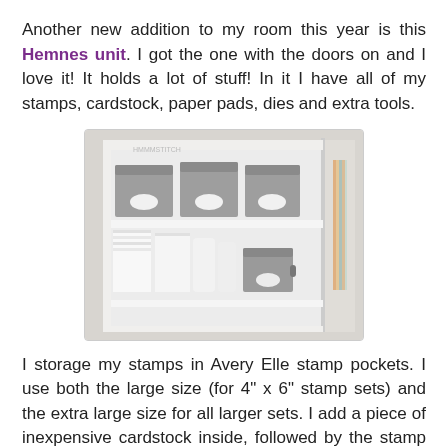Another new addition to my room this year is this Hemnes unit. I got the one with the doors on and I love it! It holds a lot of stuff! In it I have all of my stamps, cardstock, paper pads, dies and extra tools.
[Figure (photo): Interior of a Hemnes storage unit showing shelves with grey fabric storage boxes labeled on the top shelf and white cardstock/paper stacks with smaller grey boxes on the lower shelf. A door and side panel are visible.]
I storage my stamps in Avery Elle stamp pockets. I use both the large size (for 4" x 6" stamp sets) and the extra large size for all larger sets. I add a piece of inexpensive cardstock inside, followed by the stamp set. If I have a coordinating stamp set, I add this in the back on magnetic sheet. The stamps themselves are store in either Muji Acrlic DVD boxes